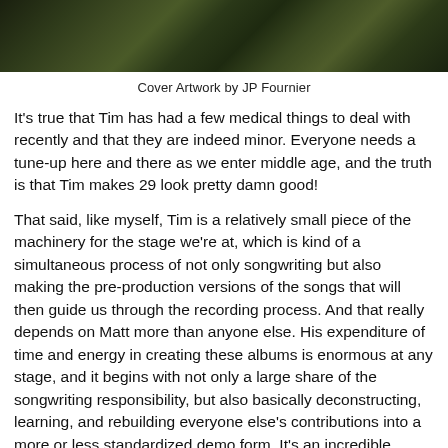[Figure (photo): Dark nature/foliage photograph used as album cover artwork, cropped to show bottom portion of image]
Cover Artwork by JP Fournier
It's true that Tim has had a few medical things to deal with recently and that they are indeed minor. Everyone needs a tune-up here and there as we enter middle age, and the truth is that Tim makes 29 look pretty damn good!
That said, like myself, Tim is a relatively small piece of the machinery for the stage we're at, which is kind of a simultaneous process of not only songwriting but also making the pre-production versions of the songs that will then guide us through the recording process. And that really depends on Matt more than anyone else. His expenditure of time and energy in creating these albums is enormous at any stage, and it begins with not only a large share of the songwriting responsibility, but also basically deconstructing, learning, and rebuilding everyone else's contributions into a more or less standardized demo form. It's an incredible amount of work, and for Matt, that's really just the beginning! The whole process depends on Matt, and I trust him to know when the time